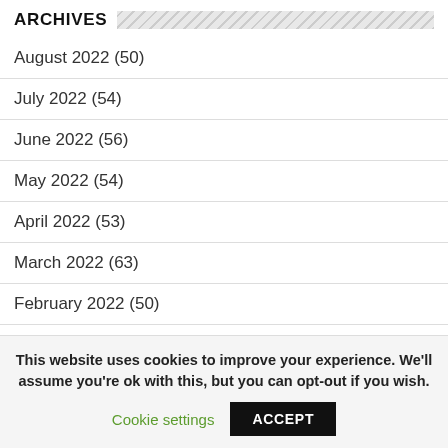ARCHIVES
August 2022 (50)
July 2022 (54)
June 2022 (56)
May 2022 (54)
April 2022 (53)
March 2022 (63)
February 2022 (50)
January 2022 (68)
December 2021 (53)
November 2021 (43)
This website uses cookies to improve your experience. We'll assume you're ok with this, but you can opt-out if you wish.
Cookie settings | ACCEPT